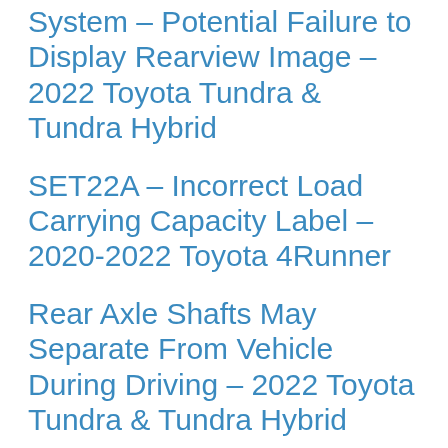System – Potential Failure to Display Rearview Image – 2022 Toyota Tundra & Tundra Hybrid
SET22A – Incorrect Load Carrying Capacity Label – 2020-2022 Toyota 4Runner
Rear Axle Shafts May Separate From Vehicle During Driving – 2022 Toyota Tundra & Tundra Hybrid
22TA05 – Axle Shaft May Separate – 2022 Toyota Tundra & Tundra Hybrid